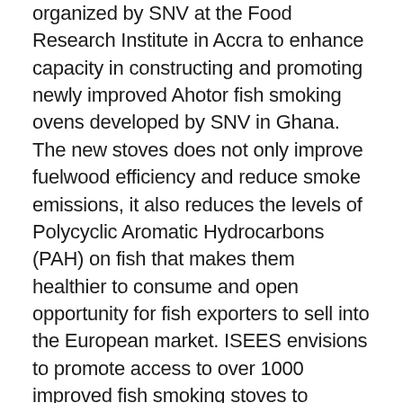organized by SNV at the Food Research Institute in Accra to enhance capacity in constructing and promoting newly improved Ahotor fish smoking ovens developed by SNV in Ghana. The new stoves does not only improve fuelwood efficiency and reduce smoke emissions, it also reduces the levels of Polycyclic Aromatic Hydrocarbons (PAH) on fish that makes them healthier to consume and open opportunity for fish exporters to sell into the European market. ISEES envisions to promote access to over 1000 improved fish smoking stoves to women groups in coastal areas of Ghana with SNV under the Sustainable Fisheries Management Project of USAID. ISEES however explores further partnerships to venture areas such as Keta, Ada, Winneba, Takoradi, Yeji and other fish smoking communities in the Volta Region, Central Region, Western Region, and Brong Ahafo Region.